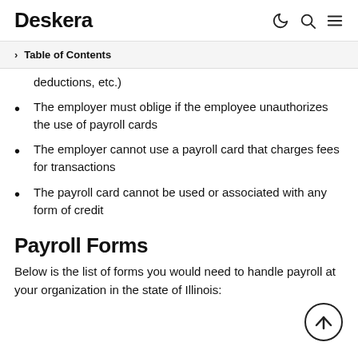Deskera
Table of Contents
deductions, etc.)
The employer must oblige if the employee unauthorizes the use of payroll cards
The employer cannot use a payroll card that charges fees for transactions
The payroll card cannot be used or associated with any form of credit
Payroll Forms
Below is the list of forms you would need to handle payroll at your organization in the state of Illinois: